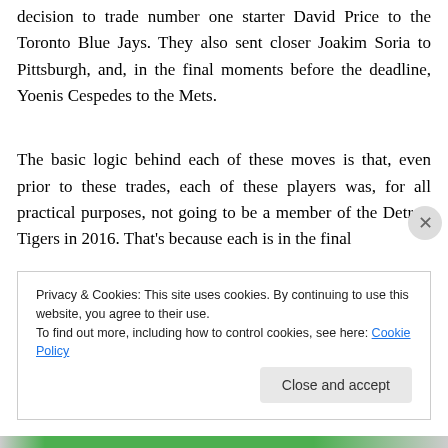decision to trade number one starter David Price to the Toronto Blue Jays. They also sent closer Joakim Soria to Pittsburgh, and, in the final moments before the deadline, Yoenis Cespedes to the Mets.
The basic logic behind each of these moves is that, even prior to these trades, each of these players was, for all practical purposes, not going to be a member of the Detroit Tigers in 2016. That's because each is in the final
Privacy & Cookies: This site uses cookies. By continuing to use this website, you agree to their use.
To find out more, including how to control cookies, see here: Cookie Policy